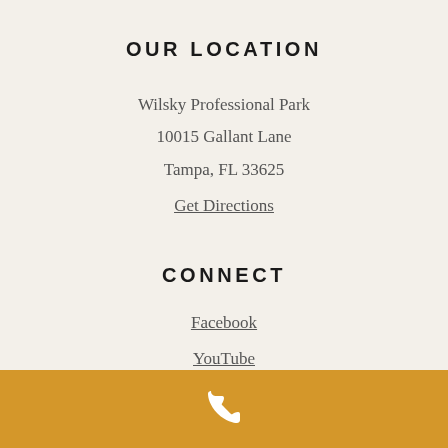OUR LOCATION
Wilsky Professional Park
10015 Gallant Lane
Tampa, FL 33625
Get Directions
CONNECT
Facebook
YouTube
Twitter
LinkedIn
[Figure (illustration): Gold/amber colored bar with a white phone icon centered within it]